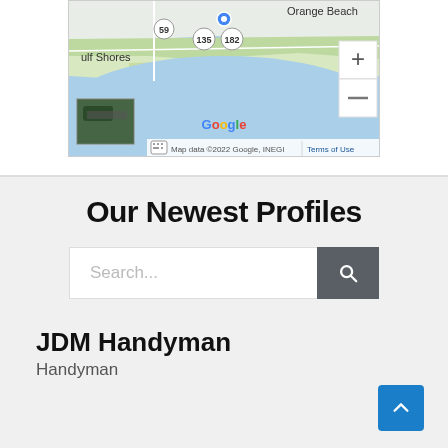[Figure (map): Google Maps screenshot showing Orange Beach and Gulf Shores area, Alabama. Map shows waterways, roads including routes 59, 135, 182, with zoom controls (+/-) and Google branding. Map data ©2022 Google, INEGI. Terms of Use shown.]
Our Newest Profiles
[Figure (screenshot): Search bar with placeholder text 'Search...' and a dark grey search button with magnifying glass icon]
JDM Handyman
Handyman